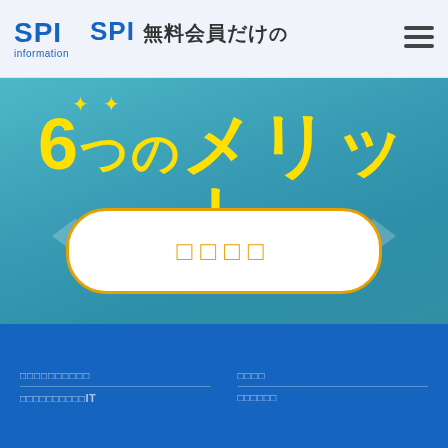SPI information　SPI無料会員だけ
6つのメリット
□□□□
□□□□□□□□□□　□□□□
□□□□□□□□□□IT　□□□□□□